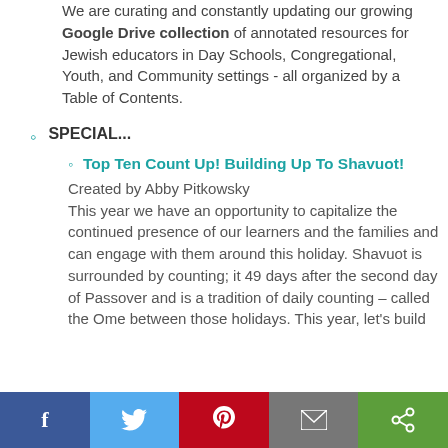We are curating and constantly updating our growing Google Drive collection of annotated resources for Jewish educators in Day Schools, Congregational, Youth, and Community settings - all organized by a Table of Contents.
SPECIAL...
Top Ten Count Up! Building Up To Shavuot! | Created by Abby Pitkowsky
This year we have an opportunity to capitalize the continued presence of our learners and the families and can engage with them around this holiday. Shavuot is surrounded by counting; it 49 days after the second day of Passover and is a tradition of daily counting – called the Ome between those holidays. This year, let's build
f  [twitter]  [pinterest]  [email]  [share]